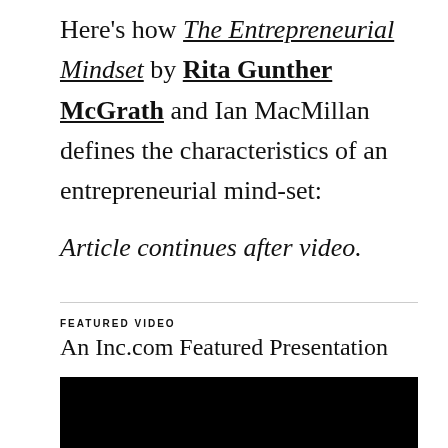Here's how The Entrepreneurial Mindset by Rita Gunther McGrath and Ian MacMillan defines the characteristics of an entrepreneurial mind-set:
Article continues after video.
FEATURED VIDEO
An Inc.com Featured Presentation
[Figure (screenshot): Black video player box with white text 'Loading ad' and a spinning loading indicator]